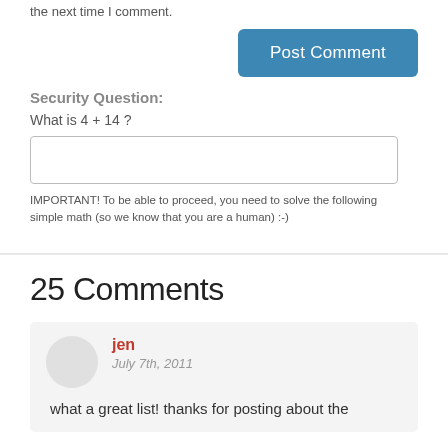the next time I comment.
Post Comment
Security Question:
What is 4 + 14 ?
IMPORTANT! To be able to proceed, you need to solve the following simple math (so we know that you are a human) :-)
25 Comments
jen
July 7th, 2011
what a great list! thanks for posting about the